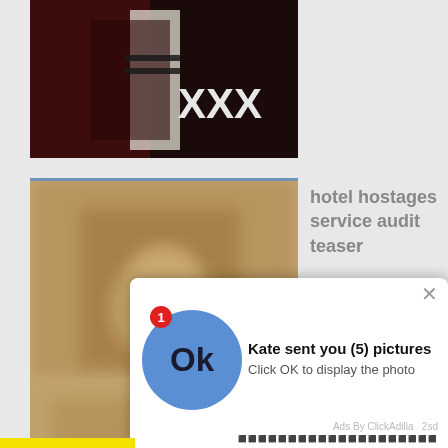[Figure (photo): Dark themed image showing a figure in costume with XXX text overlay]
[Figure (photo): Blurred brownish photo thumbnail]
hotel hostages service audit teaser
[Figure (infographic): Popup notification: blue OK circle with badge '1', title 'Kate sent you (5) pictures', subtitle 'Click OK to display the photo', footer 'Ads By ClickAdilla 2sd']